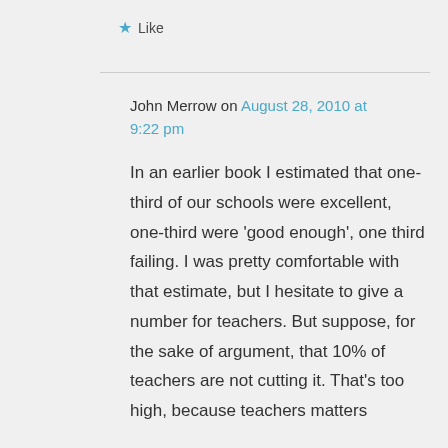Like
John Merrow on August 28, 2010 at 9:22 pm
In an earlier book I estimated that one-third of our schools were excellent, one-third were 'good enough', one third failing. I was pretty comfortable with that estimate, but I hesitate to give a number for teachers. But suppose, for the sake of argument, that 10% of teachers are not cutting it. That's too high, because teachers matters